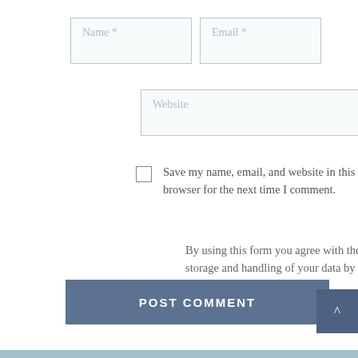[Figure (screenshot): Web comment form with Name and Email input fields side by side, Website input field below, a checkbox with save browser data label, consent text, and a POST COMMENT button]
Name *
Email *
Website
Save my name, email, and website in this browser for the next time I comment.
By using this form you agree with the storage and handling of your data by this website. *
POST COMMENT